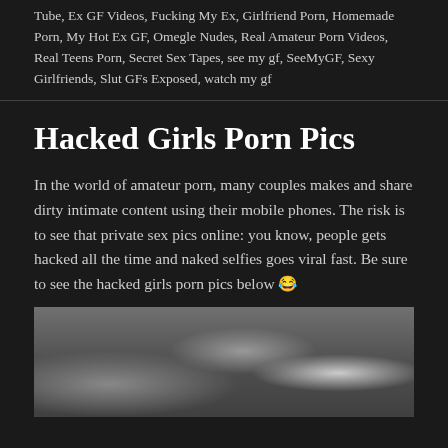Tube, Ex GF Videos, Fucking My Ex, Girlfriend Porn, Homemade Porn, My Hot Ex GF, Omegle Nudes, Real Amateur Porn Videos, Real Teens Porn, Secret Sex Tapes, see my gf, SeeMyGF, Sexy Girlfriends, Slut GFs Exposed, watch my gf
Hacked Girls Porn Pics
In the world of amateur porn, many couples makes and share dirty intimate content using their mobile phones. The risk is to see that private sex pics online: you know, people gets hacked all the time and naked selfies goes viral fast. Be sure to see the hacked girls porn pics below 😂
[Figure (photo): A partially visible photograph with dark tones showing figures in an indoor setting]